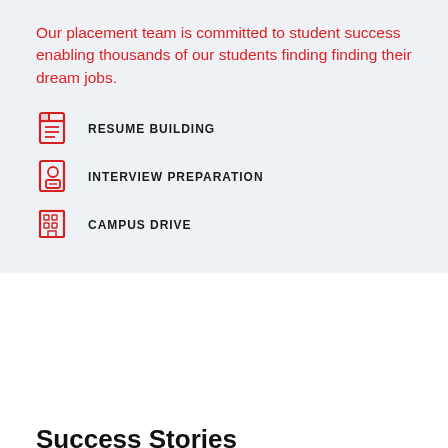Our placement team is committed to student success enabling thousands of our students finding finding their dream jobs.
RESUME BUILDING
INTERVIEW PREPARATION
CAMPUS DRIVE
Success Stories